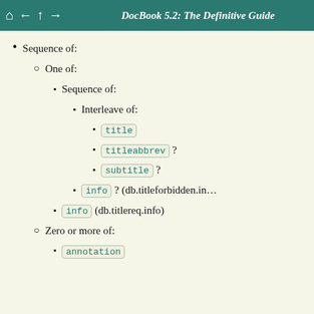DocBook 5.2: The Definitive Guide
Sequence of:
One of:
Sequence of:
Interleave of:
title
titleabbrev ?
subtitle ?
info ? (db.titleforbidden.in...
info (db.titlereq.info)
Zero or more of:
annotation